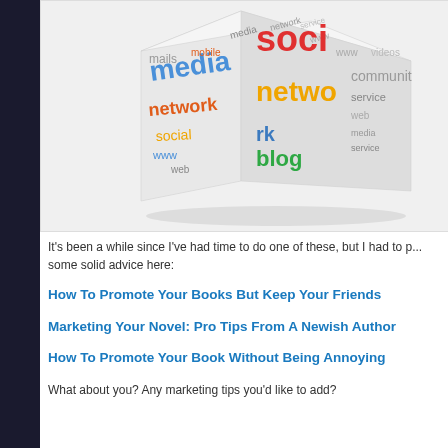[Figure (illustration): A 3D cube covered with social media related words in various colors (blue, red, orange, yellow) including 'social', 'network', 'media', 'blog', 'community', 'service', 'web', 'mobile', 'www'. The cube is shown at an angle against a white background.]
It's been a while since I've had time to do one of these, but I had to p... some solid advice here:
How To Promote Your Books But Keep Your Friends
Marketing Your Novel: Pro Tips From A Newish Author
How To Promote Your Book Without Being Annoying
What about you? Any marketing tips you'd like to add?